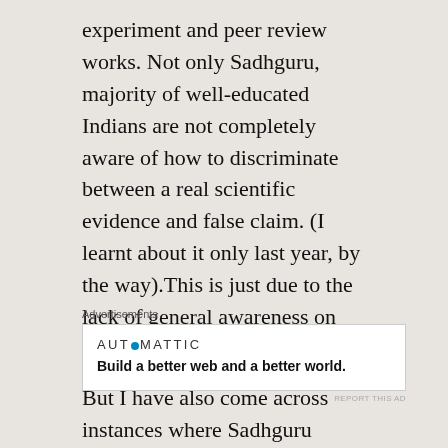experiment and peer review works. Not only Sadhguru, majority of well-educated Indians are not completely aware of how to discriminate between a real scientific evidence and false claim. (I learnt about it only last year, by the way).This is just due to the lack of general awareness on this topic among public.
[Figure (other): Automattic advertisement: logo reading 'AUTOMATTIC' with a blue dot replacing the 'O', and tagline 'Build a better web and a better world.']
But I have also come across instances where Sadhguru voluntarily talks about science and claims that many things the science is discovered now has been already discovered by yogic methods. He may be probably doing this